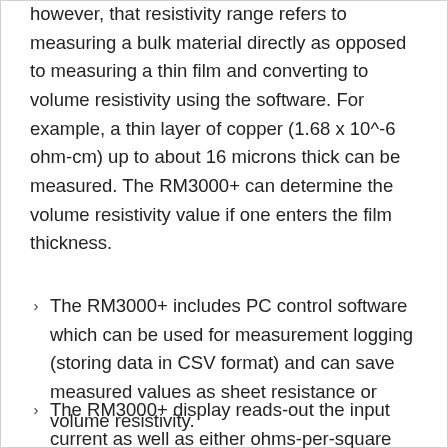however, that resistivity range refers to measuring a bulk material directly as opposed to measuring a thin film and converting to volume resistivity using the software. For example, a thin layer of copper (1.68 x 10^-6 ohm-cm) up to about 16 microns thick can be measured. The RM3000+ can determine the volume resistivity value if one enters the film thickness.
The RM3000+ includes PC control software which can be used for measurement logging (storing data in CSV format) and can save measured values as sheet resistance or volume resistivity.
The RM3000+ display reads-out the input current as well as either ohms-per-square (sheet resistance), ohms-cm (volume...